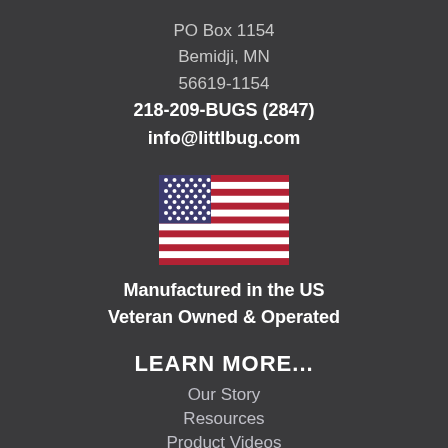PO Box 1154
Bemidji, MN
56619-1154
218-209-BUGS (2847)
info@littlbug.com
[Figure (illustration): American flag illustration]
Manufactured in the US
Veteran Owned & Operated
LEARN MORE...
Our Story
Resources
Product Videos
Camping Tips and Tricks
Privacy Policy
[Figure (illustration): Money-back guarantee gold coin badge, partially visible at bottom]